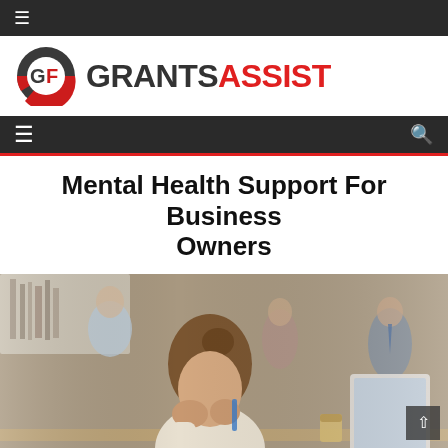≡
[Figure (logo): GrantsAssist logo with circular GF icon in red/dark grey and bold text GRANTS in dark grey and ASSIST in red]
≡  🔍
Mental Health Support For Business Owners
[Figure (photo): Office scene showing a stressed woman with her head in her hands at a desk, with blurred colleagues in the background]